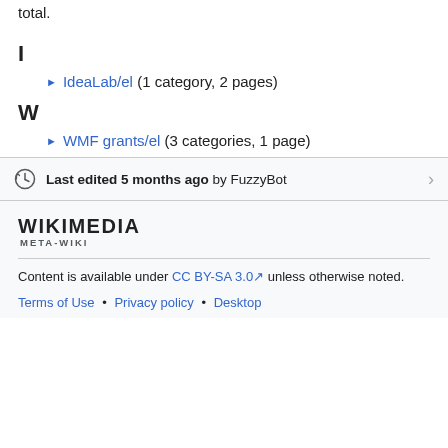total.
I
IdeaLab/el (1 category, 2 pages)
W
WMF grants/el (3 categories, 1 page)
Last edited 5 months ago by FuzzyBot
WIKIMEDIA META-WIKI
Content is available under CC BY-SA 3.0 unless otherwise noted.
Terms of Use • Privacy policy • Desktop